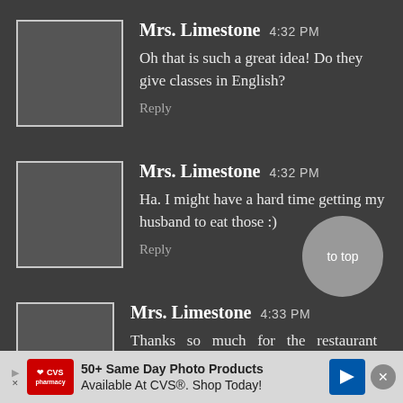Mrs. Limestone 4:32 PM
Oh that is such a great idea! Do they give classes in English?
Reply
Mrs. Limestone 4:32 PM
Ha. I might have a hard time getting my husband to eat those :)
Reply
Mrs. Limestone 4:33 PM
Thanks so much for the restaurant recommendations. Sounds yum.
[Figure (screenshot): CVS advertisement banner: '50+ Same Day Photo Products Available At CVS®. Shop Today!']